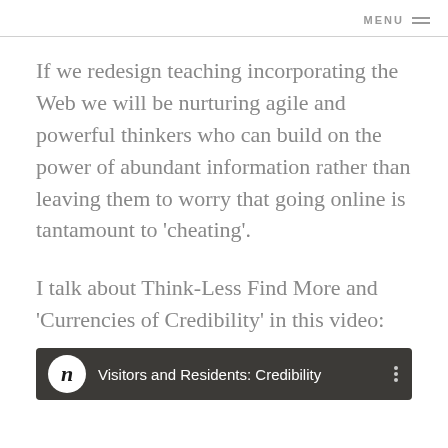MENU ≡
If we redesign teaching incorporating the Web we will be nurturing agile and powerful thinkers who can build on the power of abundant information rather than leaving them to worry that going online is tantamount to 'cheating'.
I talk about Think-Less Find More and 'Currencies of Credibility' in this video:
[Figure (screenshot): YouTube-style video thumbnail showing 'Visitors and Residents: Credibility' with a circular logo with letter 'n' on the left, video title, and three-dot menu icon. Background shows a blurred room/interior scene.]